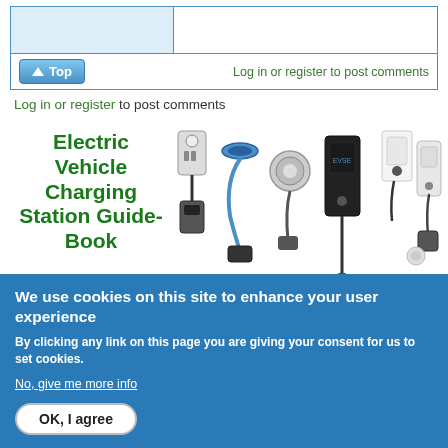[Figure (screenshot): Website navigation bar with Top button and login links, bordered in blue]
Log in or register to post comments
[Figure (photo): Electric Vehicle Charging Station Guide-Book promotional image with various EV chargers]
[Figure (screenshot): Partial pagination strip at bottom of page content]
We use cookies on this site to enhance your user experience
By clicking any link on this page you are giving your consent for us to set cookies.
No, give me more info
OK, I agree